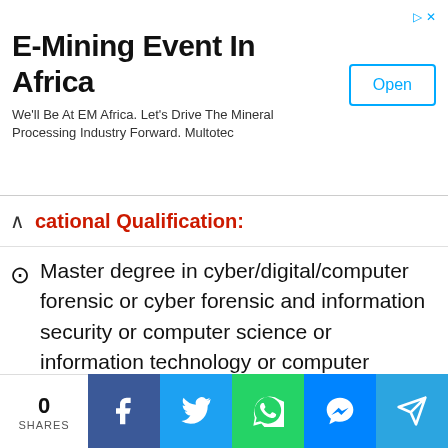[Figure (other): Advertisement banner for E-Mining Event In Africa by Multotec with an Open button]
Educational Qualification:
Master degree in cyber/digital/computer forensic or cyber forensic and information security or computer science or information technology or computer applications or physics with electronics as one of the subject from a recognized university
Related Posts : SSC Stenographer Recruitment 2022 : Grade C & D Vacancy, Online Apply
0 SHARES | Facebook | Twitter | WhatsApp | Messenger | Telegram